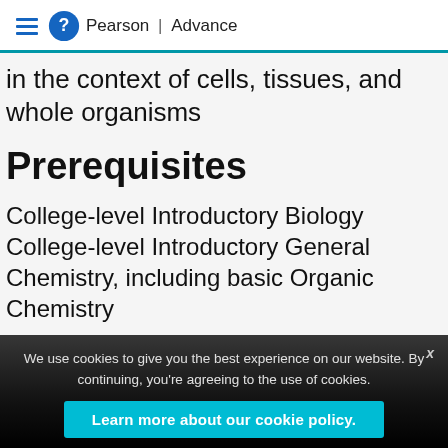Pearson | Advance
in the context of cells, tissues, and whole organisms
Prerequisites
College-level Introductory Biology
College-level Introductory General Chemistry, including basic Organic Chemistry
We use cookies to give you the best experience on our website. By continuing, you're agreeing to the use of cookies. Learn more about our cookie policy.